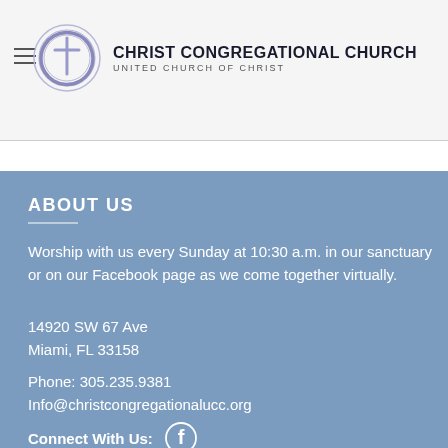Sunday Morning Worship Service
[Figure (logo): Christ Congregational Church logo — circular C with cross, text CHRIST CONGREGATIONAL CHURCH / UNITED CHURCH OF CHRIST]
ABOUT US
Worship with us every Sunday at 10:30 a.m. in our sanctuary or on our Facebook page as we come together virtually.
14920 SW 67 Ave
Miami, FL 33158
Phone: 305.235.9381
Info@christcongregationalucc.org
Connect With Us: